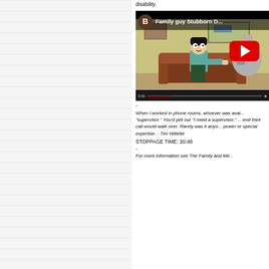disability.
[Figure (screenshot): YouTube video thumbnail showing a Family Guy cartoon scene with a man sitting on a brown couch next to a donkey. The video title reads 'Family guy Stubborn D...' with a channel icon labeled B. A red YouTube play button is overlaid. A video progress bar is shown at the bottom.]
-
When I worked in phone rooms, whoever was avai... "supervisor." You'd yell out "I need a supervisor," ... end their call would walk over. Rarely was it anyo... power or special expertise. - Tim Willette
STOPPAGE TIME: 20:48
-
For more information see The Family and Me...